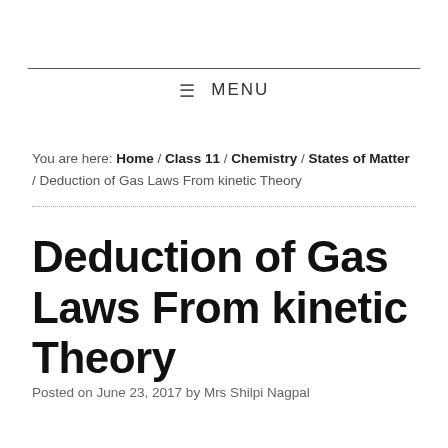MENU
You are here: Home / Class 11 / Chemistry / States of Matter / Deduction of Gas Laws From kinetic Theory
Deduction of Gas Laws From kinetic Theory
Posted on June 23, 2017 by Mrs Shilpi Nagpal